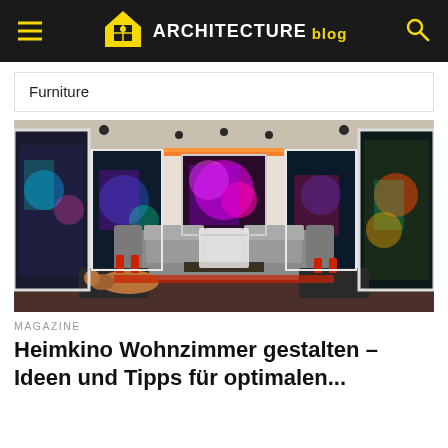ARCHITECTURE blog
Furniture
[Figure (photo): A stylish home cinema living room with grey sofas, large colorful framed artworks on the walls, ceiling spotlights with an orange accent light strip, a dog lying on the floor, and a central vibrant artwork behind the sofa.]
MAGAZINE
Heimkino Wohnzimmer gestalten – Ideen und Tipps für optimalen...